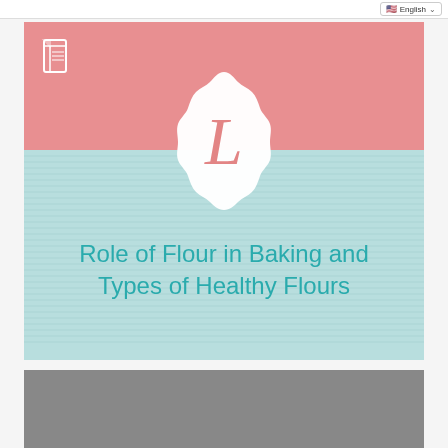English
[Figure (illustration): Cover card for article titled 'Role of Flour in Baking and Types of Healthy Flours'. Features a salmon/pink top section with a small book icon, a light teal/mint textured lower section, a white scalloped badge in the center with a decorative cursive letter L in salmon pink, and the title text in teal below the badge.]
Role of Flour in Baking and Types of Healthy Flours
[Figure (photo): Gray placeholder image area below the cover card, partially cut off at the bottom of the page.]